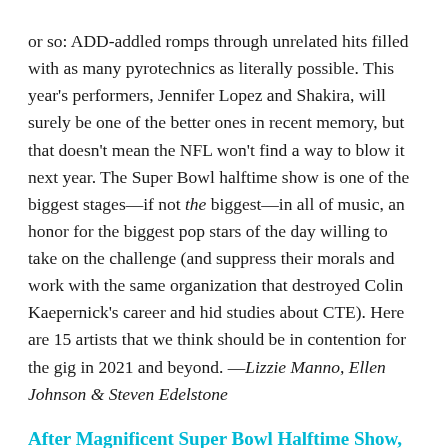or so: ADD-addled romps through unrelated hits filled with as many pyrotechnics as literally possible. This year's performers, Jennifer Lopez and Shakira, will surely be one of the better ones in recent memory, but that doesn't mean the NFL won't find a way to blow it next year. The Super Bowl halftime show is one of the biggest stages—if not the biggest—in all of music, an honor for the biggest pop stars of the day willing to take on the challenge (and suppress their morals and work with the same organization that destroyed Colin Kaepernick's career and hid studies about CTE). Here are 15 artists that we think should be in contention for the gig in 2021 and beyond. —Lizzie Manno, Ellen Johnson & Steven Edelstone
After Magnificent Super Bowl Halftime Show, It Was J-Lo's Year After All